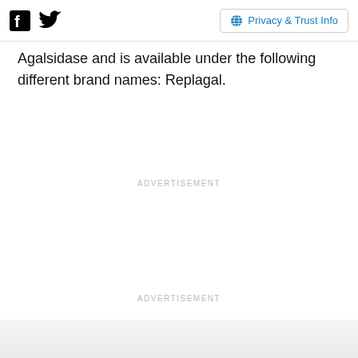Facebook Twitter | Privacy & Trust Info
Agalsidase and is available under the following different brand names: Replagal.
ADVERTISEMENT
ADVERTISEMENT